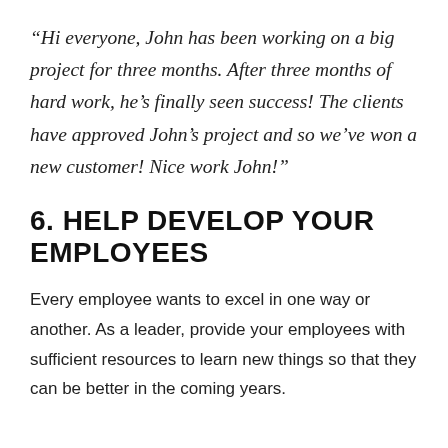“Hi everyone, John has been working on a big project for three months. After three months of hard work, he’s finally seen success! The clients have approved John’s project and so we’ve won a new customer! Nice work John!”
6. HELP DEVELOP YOUR EMPLOYEES
Every employee wants to excel in one way or another. As a leader, provide your employees with sufficient resources to learn new things so that they can be better in the coming years.